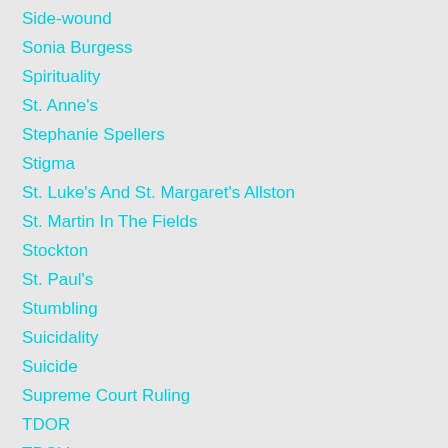Side-wound
Sonia Burgess
Spirituality
St. Anne's
Stephanie Spellers
Stigma
St. Luke's And St. Margaret's Allston
St. Martin In The Fields
Stockton
St. Paul's
Stumbling
Suicidality
Suicide
Supreme Court Ruling
TDOR
TDOV
Testimony
Texas
Texas HB 25